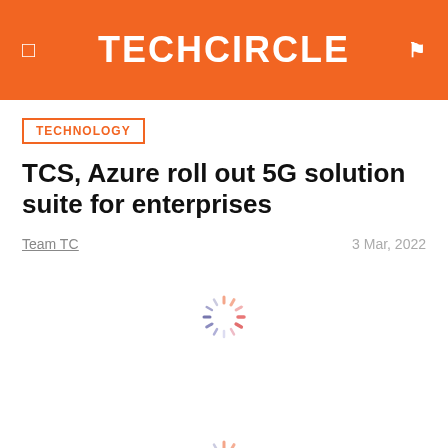TECHCIRCLE
TECHNOLOGY
TCS, Azure roll out 5G solution suite for enterprises
Team TC   3 Mar, 2022
[Figure (other): Loading spinner animation (colorful radial dots spinner)]
[Figure (other): Loading spinner animation (colorful radial dots spinner)]